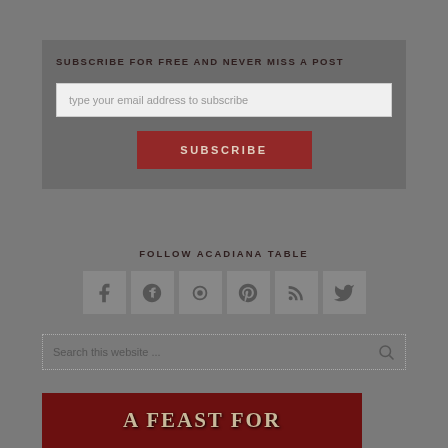SUBSCRIBE FOR FREE AND NEVER MISS A POST
type your email address to subscribe
SUBSCRIBE
FOLLOW ACADIANA TABLE
[Figure (infographic): Row of six social media icon buttons: Facebook, Google+, something, Pinterest, RSS, Twitter]
Search this website ...
A FEAST FOR